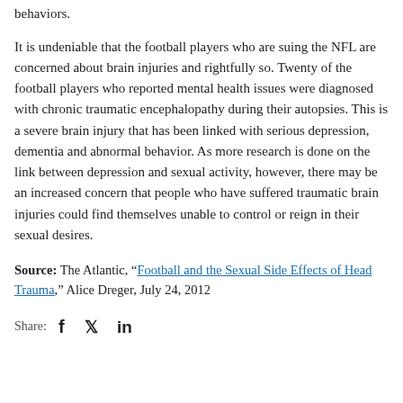behaviors.
It is undeniable that the football players who are suing the NFL are concerned about brain injuries and rightfully so. Twenty of the football players who reported mental health issues were diagnosed with chronic traumatic encephalopathy during their autopsies. This is a severe brain injury that has been linked with serious depression, dementia and abnormal behavior. As more research is done on the link between depression and sexual activity, however, there may be an increased concern that people who have suffered traumatic brain injuries could find themselves unable to control or reign in their sexual desires.
Source: The Atlantic, “Football and the Sexual Side Effects of Head Trauma,” Alice Dreger, July 24, 2012
Share: